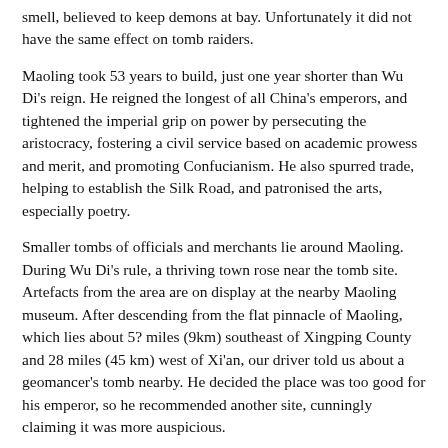smell, believed to keep demons at bay. Unfortunately it did not have the same effect on tomb raiders.
Maoling took 53 years to build, just one year shorter than Wu Di's reign. He reigned the longest of all China's emperors, and tightened the imperial grip on power by persecuting the aristocracy, fostering a civil service based on academic prowess and merit, and promoting Confucianism. He also spurred trade, helping to establish the Silk Road, and patronised the arts, especially poetry.
Smaller tombs of officials and merchants lie around Maoling. During Wu Di's rule, a thriving town rose near the tomb site. Artefacts from the area are on display at the nearby Maoling museum. After descending from the flat pinnacle of Maoling, which lies about 5? miles (9km) southeast of Xingping County and 28 miles (45 km) west of Xi'an, our driver told us about a geomancer's tomb nearby. He decided the place was too good for his emperor, so he recommended another site, cunningly claiming it was more auspicious.
After the geomancer's burial, the story goes, the mound started to grow. And it kept on growing, worrying farmers living nearby so much they placed a very large stone on the top to impede it. The stone is still there and known locally as Mr Feng Shui.